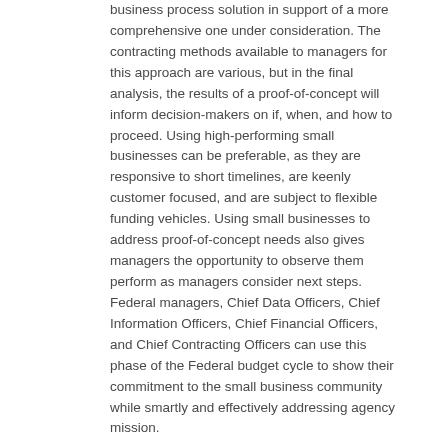business process solution in support of a more comprehensive one under consideration. The contracting methods available to managers for this approach are various, but in the final analysis, the results of a proof-of-concept will inform decision-makers on if, when, and how to proceed. Using high-performing small businesses can be preferable, as they are responsive to short timelines, are keenly customer focused, and are subject to flexible funding vehicles. Using small businesses to address proof-of-concept needs also gives managers the opportunity to observe them perform as managers consider next steps. Federal managers, Chief Data Officers, Chief Information Officers, Chief Financial Officers, and Chief Contracting Officers can use this phase of the Federal budget cycle to show their commitment to the small business community while smartly and effectively addressing agency mission.